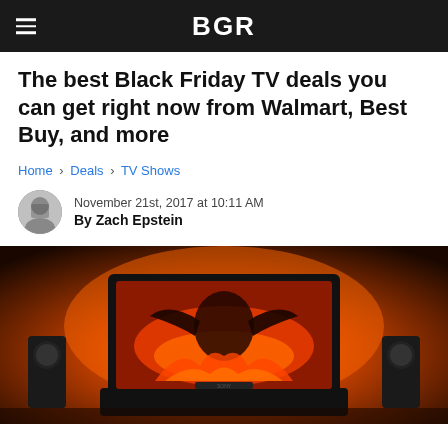BGR
The best Black Friday TV deals you can get right now from Walmart, Best Buy, and more
Home › Deals › TV Shows
November 21st, 2017 at 10:11 AM
By Zach Epstein
[Figure (photo): A Sony television displaying a fantasy video game scene with fire and a dragon-like creature, set against an orange glowing background with speakers on either side.]